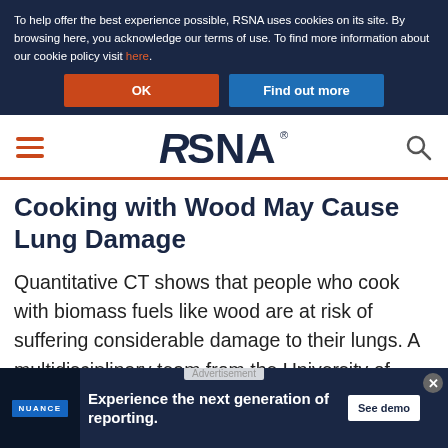To help offer the best experience possible, RSNA uses cookies on its site. By browsing here, you acknowledge our terms of use. To find more information about our cookie policy visit here.
OK | Find out more
RSNA
Cooking with Wood May Cause Lung Damage
Quantitative CT shows that people who cook with biomass fuels like wood are at risk of suffering considerable damage to their lungs. A multidisciplinary team from the University of Iowa, in collaboration with researchers from Perivar Maniammai Institute of Science and Technology...
[Figure (screenshot): Advertisement banner for Nuance showing medical imaging software with text 'Experience the next generation of reporting.' and a 'See demo' button]